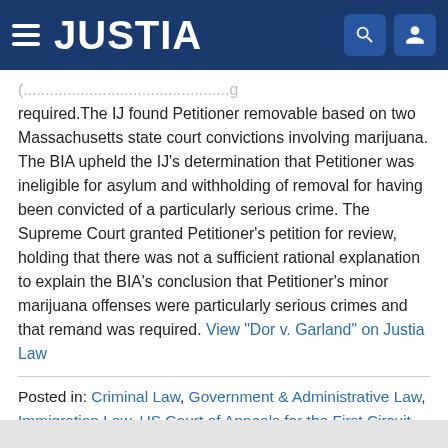JUSTIA
required.The IJ found Petitioner removable based on two Massachusetts state court convictions involving marijuana. The BIA upheld the IJ's determination that Petitioner was ineligible for asylum and withholding of removal for having been convicted of a particularly serious crime. The Supreme Court granted Petitioner's petition for review, holding that there was not a sufficient rational explanation to explain the BIA's conclusion that Petitioner's minor marijuana offenses were particularly serious crimes and that remand was required. View "Dor v. Garland" on Justia Law
Posted in: Criminal Law, Government & Administrative Law, Immigration Law, US Court of Appeals for the First Circuit